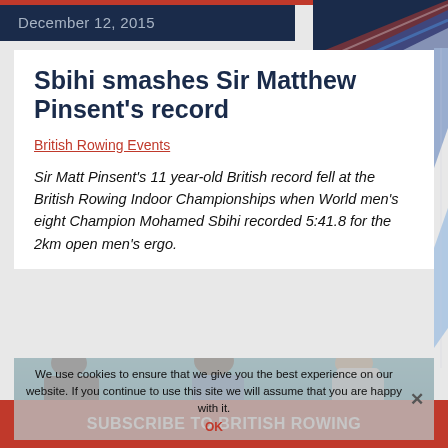December 12, 2015
Sbihi smashes Sir Matthew Pinsent's record
British Rowing Events
Sir Matt Pinsent's 11 year-old British record fell at the British Rowing Indoor Championships when World men's eight Champion Mohamed Sbihi recorded 5:41.8 for the 2km open men's ergo.
[Figure (photo): Athletes at rowing event, seen from behind/side, wearing blue and light clothing]
We use cookies to ensure that we give you the best experience on our website. If you continue to use this site we will assume that you are happy with it.
OK
SUBSCRIBE TO BRITISH ROWING